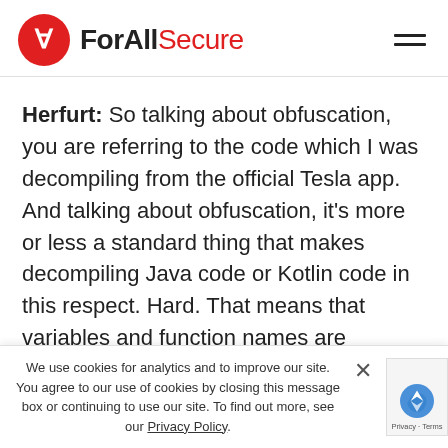ForAllSecure
Herfurt: So talking about obfuscation, you are referring to the code which I was decompiling from the official Tesla app. And talking about obfuscation, it's more or less a standard thing that makes decompiling Java code or Kotlin code in this respect. Hard. That means that variables and function names are reduced to like numbers and letters that do not really say anything. So if you read that, it's not a you
We use cookies for analytics and to improve our site. You agree to our use of cookies by closing this message box or continuing to use our site. To find out more, see our Privacy Policy.